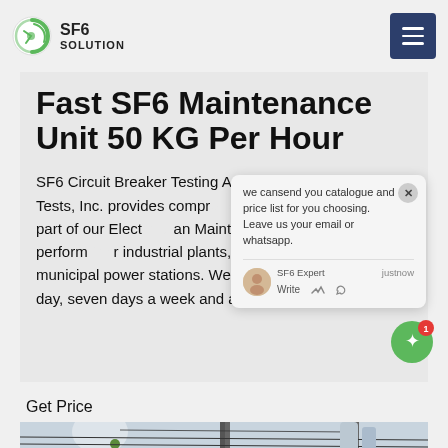SF6 SOLUTION
Fast SF6 Maintenance Unit 50 KG Per Hour
SF6 Circuit Breaker Testing And Ma... Industrial Tests, Inc. provides compr... Testing services as part of our Elect... an Maintenance services. We perform ... r industrial plants, large commerc... f municipal power stations. We are av... hours a day, seven days a week and are maintenance
we cansend you catalogue and price list for you choosing. Leave us your email or whatsapp.
SF6 Expert   justnow
Write
Get Price
[Figure (photo): Electrical substation equipment — insulators, circuit breakers and transmission line structures against a light sky]